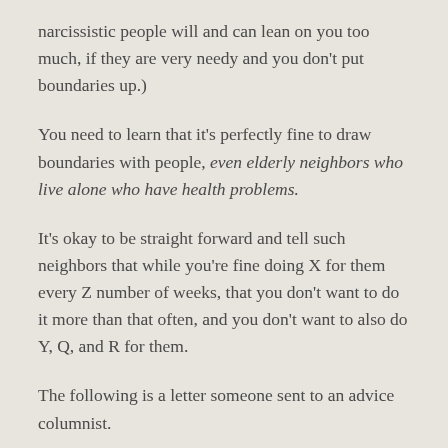narcissistic people will and can lean on you too much, if they are very needy and you don't put boundaries up.)
You need to learn that it's perfectly fine to draw boundaries with people, even elderly neighbors who live alone who have health problems.
It's okay to be straight forward and tell such neighbors that while you're fine doing X for them every Z number of weeks, that you don't want to do it more than that often, and you don't want to also do Y, Q, and R for them.
The following is a letter someone sent to an advice columnist.